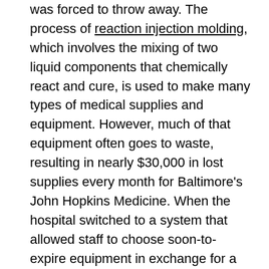was forced to throw away. The process of reaction injection molding, which involves the mixing of two liquid components that chemically react and cure, is used to make many types of medical supplies and equipment. However, much of that equipment often goes to waste, resulting in nearly $30,000 in lost supplies every month for Baltimore's John Hopkins Medicine. When the hospital switched to a system that allowed staff to choose soon-to-expire equipment in exchange for a $5 gift card to the hospital cafe, the hospital was able to save $135,860 in a 13-month trial period. The hospital staff did not jeopardize the health of patients by doing so, and the savings can then be used to improve patient care and other areas of the hospital as a result.